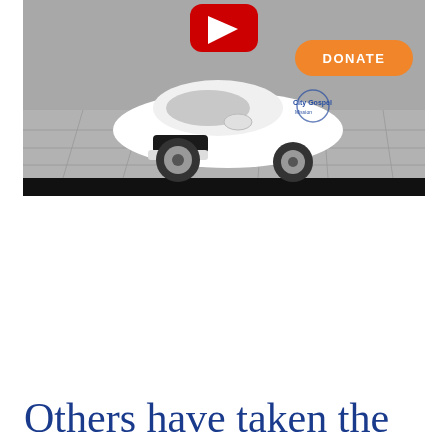[Figure (screenshot): Screenshot of a YouTube video showing a white sports car (with City Gospel Mission branding) on a gray tiled floor background. A red YouTube play button is visible at the top center, and an orange 'DONATE' button is overlaid on the right side. The bottom portion of the video frame is a black bar.]
Others have taken the